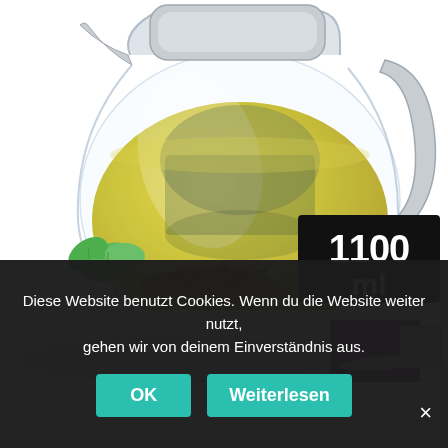[Figure (photo): Glass tea pitcher/carafe filled with yellow/green tea, with a stainless steel lid and handle. In the foreground, a pile of dried tea leaves and fresh green mint/herb leaves. A black badge in the bottom right reads '1100 ml'. Below the pitcher is a thumbnail strip showing a mesh tea strainer filter and a partial view of another product image with a purple accent. A gray navigation arrow button is visible on the right.]
Diese Website benutzt Cookies. Wenn du die Website weiter nutzt, gehen wir von deinem Einverständnis aus.